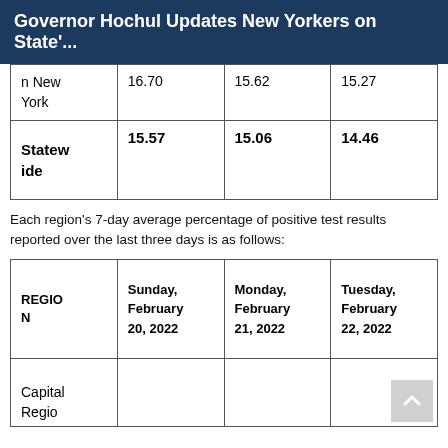Governor Hochul Updates New Yorkers on State'...
|  |  |  |  |
| --- | --- | --- | --- |
| n New York | 16.70 | 15.62 | 15.27 |
| Statewide | 15.57 | 15.06 | 14.46 |
Each region's 7-day average percentage of positive test results reported over the last three days is as follows:
| REGION | Sunday, February 20, 2022 | Monday, February 21, 2022 | Tuesday, February 22, 2022 |
| --- | --- | --- | --- |
| Capital Regio |  |  |  |